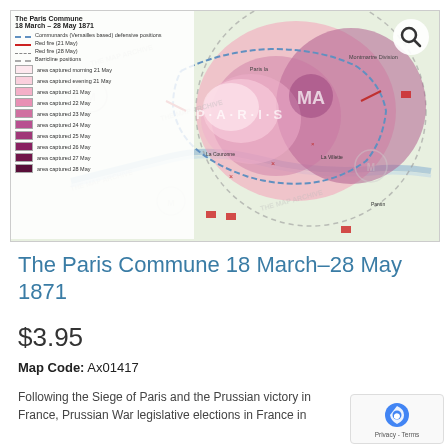[Figure (map): Historical map of The Paris Commune 18 March–28 May 1871. Shows Paris and surroundings with color-coded areas indicating areas captured on different dates (21–28 May). Includes legend with Commune/Versailles defensive positions, red fire lines, barricade symbols, and pastel purple/pink shaded zones. Watermarked with 'THE MAP ARCHIVE' and 'MA' logos. Magnifier search icon in top right corner.]
The Paris Commune 18 March–28 May 1871
$3.95
Map Code: Ax01417
Following the Siege of Paris and the Prussian victory in France, Prussian War legislative elections in France in